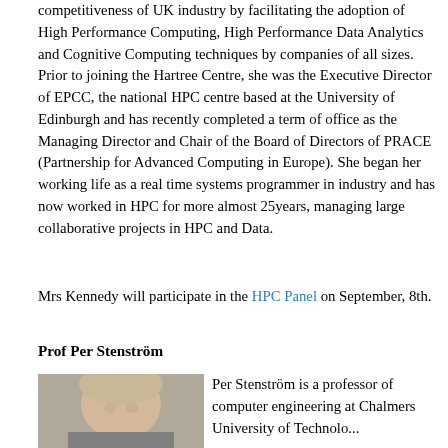competitiveness of UK industry by facilitating the adoption of High Performance Computing, High Performance Data Analytics and Cognitive Computing techniques by companies of all sizes. Prior to joining the Hartree Centre, she was the Executive Director of EPCC, the national HPC centre based at the University of Edinburgh and has recently completed a term of office as the Managing Director and Chair of the Board of Directors of PRACE (Partnership for Advanced Computing in Europe). She began her working life as a real time systems programmer in industry and has now worked in HPC for more almost 25years, managing large collaborative projects in HPC and Data.
Mrs Kennedy will participate in the HPC Panel on September, 8th.
Prof Per Stenström
[Figure (photo): Headshot of Prof Per Stenström, a middle-aged man with light hair]
Per Stenström is a professor of computer engineering at Chalmers University of Technology...